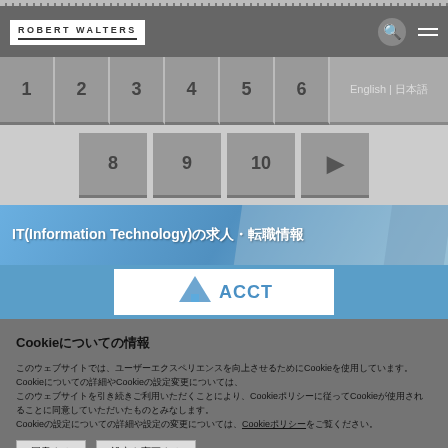ROBERT WALTERS
[Figure (screenshot): Pagination navigation buttons numbered 1 through 6 in grey boxes, row 1]
[Figure (screenshot): Pagination navigation buttons 8, 9, 10 and a forward arrow in grey boxes, row 2]
[Figure (screenshot): IT(Information Technology) banner with blue gradient background and Japanese text]
[Figure (screenshot): Blue content area with white panel showing partial logo/icon]
Cookieについて
このウェブサイトではCookieを使用してサービスをご提供しています。Cookieについての詳細や設定の変更については、Cookieポリシーをご覧ください。このウェブサイトを引き続きご利用いただくことにより、Cookieの使用に同意していただいたものとみなします。Cookie設定の詳細については、Cookieポリシーをご覧ください。
同意する
設定を変更する